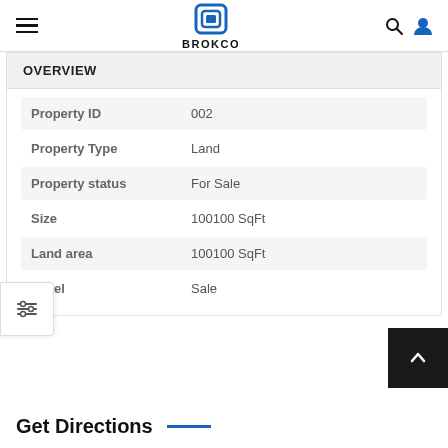BROKCO
OVERVIEW
| Field | Value |
| --- | --- |
| Property ID | 002 |
| Property Type | Land |
| Property status | For Sale |
| Size | 100100 SqFt |
| Land area | 100100 SqFt |
| Label | Sale |
Get Directions